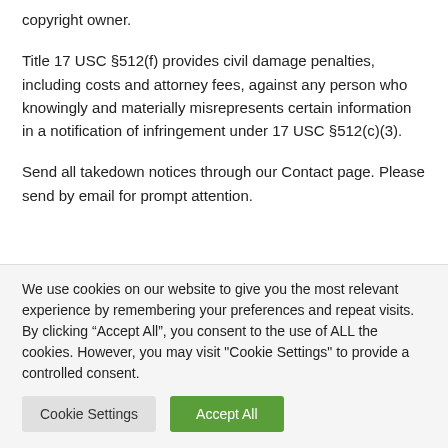copyright owner.
Title 17 USC §512(f) provides civil damage penalties, including costs and attorney fees, against any person who knowingly and materially misrepresents certain information in a notification of infringement under 17 USC §512(c)(3).
Send all takedown notices through our Contact page. Please send by email for prompt attention.
We use cookies on our website to give you the most relevant experience by remembering your preferences and repeat visits. By clicking “Accept All”, you consent to the use of ALL the cookies. However, you may visit "Cookie Settings" to provide a controlled consent.
Cookie Settings
Accept All